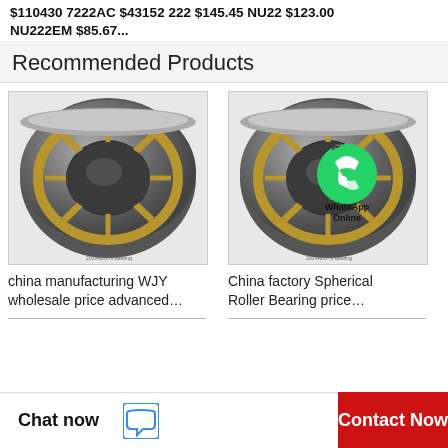$110430 7222AC $43152 222 $145.45 NU22 $123.00 NU222EM $85.67...
Recommended Products
[Figure (photo): Close-up photo of a spherical roller bearing with brass cage, dark metallic outer ring, showing rolling elements]
china manufacturing WJY wholesale price advanced…
[Figure (photo): Close-up photo of a spherical roller bearing with brass cage and WhatsApp Online overlay icon in center]
China factory Spherical Roller Bearing price…
Chat now    Contact Now